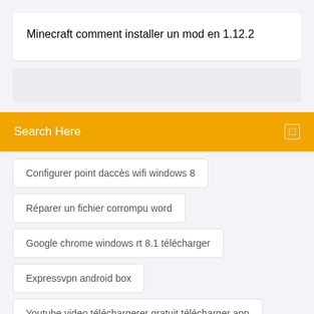Minecraft comment installer un mod en 1.12.2
Search Here
Configurer point daccès wifi windows 8
Réparer un fichier corrompu word
Google chrome windows rt 8.1 télécharger
Expressvpn android box
Youtube video téléchargerer gratuit télécharger app
Fusionner partition disque dur externe windows 10